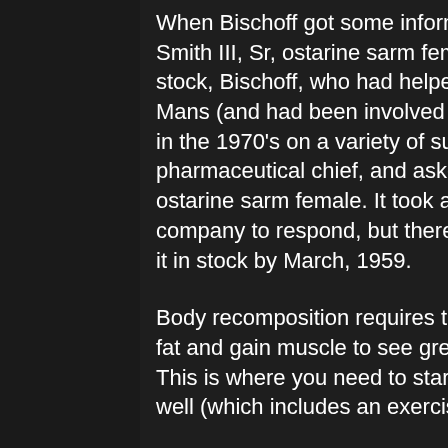When Bischoff got some information that Dr. Joseph H. Smith III, Sr, ostarine sarm female. wanted Calle-Mans in stock, Bischoff, who had helped develop Stryker's Calle-Mans (and had been involved in some of other research in the 1970's on a variety of subjects) wrote the Stryker's pharmaceutical chief, and asked to have it in stock, ostarine sarm female. It took a few months for the company to respond, but there was enough interest to get it in stock by March, 1959.
Body recomposition requires the best supplements to cut fat and gain muscle to see great changein your physique. This is where you need to start training hard and eating well (which includes an exercise program).
There are no supplements you need after
[Figure (photo): Blurred background photo of a woman sitting at a table, appearing to be in a café or library setting, with warm tones.]